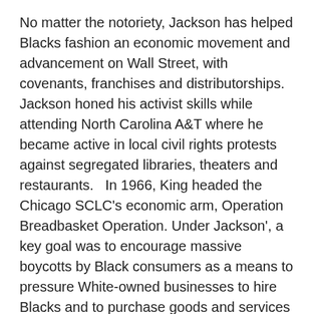No matter the notoriety, Jackson has helped Blacks fashion an economic movement and advancement on Wall Street, with covenants, franchises and distributorships.  Jackson honed his activist skills while attending North Carolina A&T where he became active in local civil rights protests against segregated libraries, theaters and restaurants.   In 1966, King headed the Chicago SCLC's economic arm, Operation Breadbasket Operation. Under Jackson', a key goal was to encourage massive boycotts by Black consumers as a means to pressure White-owned businesses to hire Blacks and to purchase goods and services from Black-owned firms. Operation Breadbasket held popular weekly workshops on Chicago's South Side featuring political and economic leaders and religious services.
Influenced by the example of Philadelphia's Rev. Leon